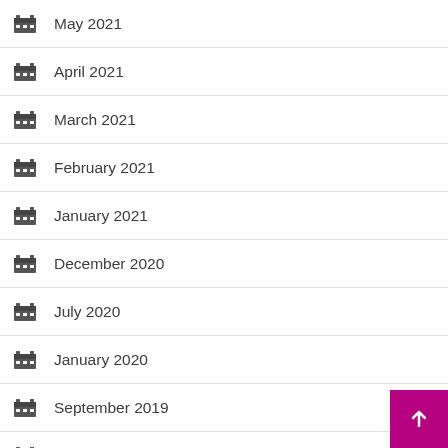May 2021
April 2021
March 2021
February 2021
January 2021
December 2020
July 2020
January 2020
September 2019
December 2017
July 2017
March 2015
April 2009